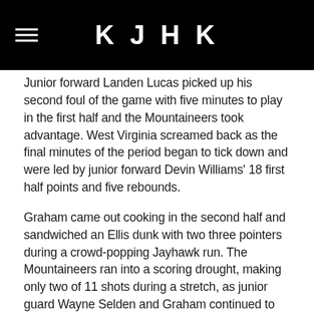KJHK
Junior forward Landen Lucas picked up his second foul of the game with five minutes to play in the first half and the Mountaineers took advantage. West Virginia screamed back as the final minutes of the period began to tick down and were led by junior forward Devin Williams' 18 first half points and five rebounds.
Graham came out cooking in the second half and sandwiched an Ellis dunk with two three pointers during a crowd-popping Jayhawk run. The Mountaineers ran into a scoring drought, making only two of 11 shots during a stretch, as junior guard Wayne Selden and Graham continued to add buckets.
As the game played through the second half, Williams resumed what he began in the first. Williams finished with a career high 31 points and added 10 rebounds, two assists and two steals to his line.
"They had a guy that played unreal," Kansas head coach Bill Self